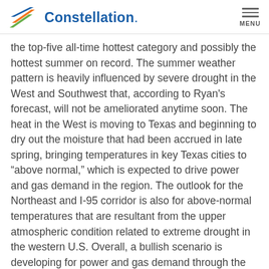Constellation. MENU
the top-five all-time hottest category and possibly the hottest summer on record. The summer weather pattern is heavily influenced by severe drought in the West and Southwest that, according to Ryan's forecast, will not be ameliorated anytime soon. The heat in the West is moving to Texas and beginning to dry out the moisture that had been accrued in late spring, bringing temperatures in key Texas cities to “above normal,” which is expected to drive power and gas demand in the region. The outlook for the Northeast and I-95 corridor is also for above-normal temperatures that are resultant from the upper atmospheric condition related to extreme drought in the western U.S. Overall, a bullish scenario is developing for power and gas demand through the coming summer.